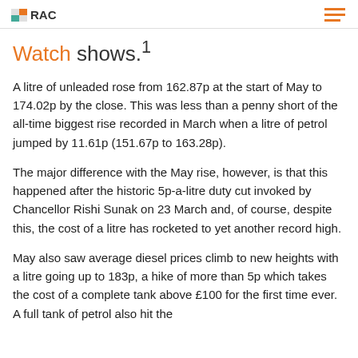RAC
Watch shows.1
A litre of unleaded rose from 162.87p at the start of May to 174.02p by the close. This was less than a penny short of the all-time biggest rise recorded in March when a litre of petrol jumped by 11.61p (151.67p to 163.28p).
The major difference with the May rise, however, is that this happened after the historic 5p-a-litre duty cut invoked by Chancellor Rishi Sunak on 23 March and, of course, despite this, the cost of a litre has rocketed to yet another record high.
May also saw average diesel prices climb to new heights with a litre going up to 183p, a hike of more than 5p which takes the cost of a complete tank above £100 for the first time ever. A full tank of petrol also hit the